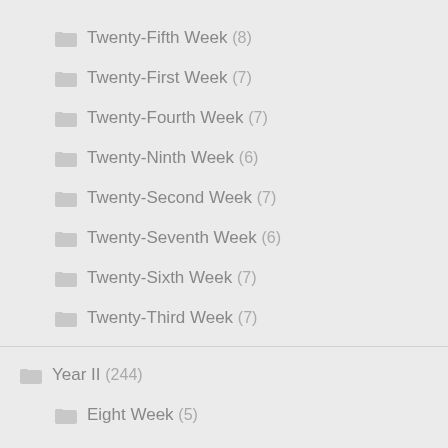Twenty-Fifth Week (8)
Twenty-First Week (7)
Twenty-Fourth Week (7)
Twenty-Ninth Week (6)
Twenty-Second Week (7)
Twenty-Seventh Week (6)
Twenty-Sixth Week (7)
Twenty-Third Week (7)
Year II (244)
Eight Week (5)